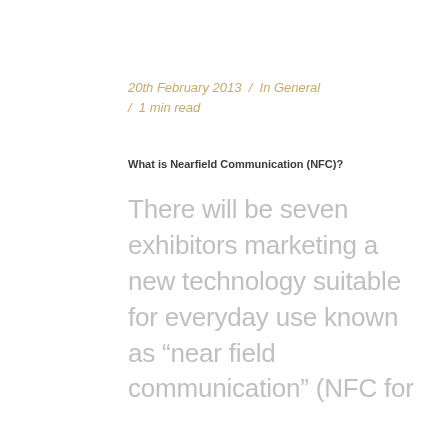20th February 2013  /  In General  /  1 min read
What is Nearfield Communication (NFC)?
There will be seven exhibitors marketing a new technology suitable for everyday use known as “near field communication” (NFC for